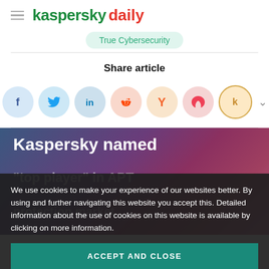kaspersky daily
True Cybersecurity
Share article
[Figure (infographic): Social share buttons: Facebook, Twitter, LinkedIn, Reddit, Hacker News (Y), Pocket, Kippt (k), and a chevron expand button]
Kaspersky named "top player" in APT protection market by Radicati Group
We use cookies to make your experience of our websites better. By using and further navigating this website you accept this. Detailed information about the use of cookies on this website is available by clicking on more information.
ACCEPT AND CLOSE